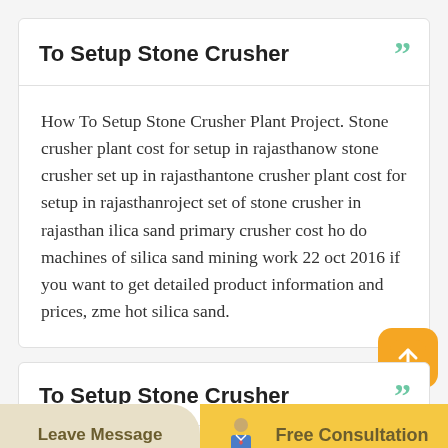To Setup Stone Crusher
How To Setup Stone Crusher Plant Project. Stone crusher plant cost for setup in rajasthanow stone crusher set up in rajasthantone crusher plant cost for setup in rajasthanroject set of stone crusher in rajasthan ilica sand primary crusher cost ho do machines of silica sand mining work 22 oct 2016 if you want to get detailed product information and prices, zme hot silica sand.
To Setup Stone Crusher
Leave Message
Free Consultation